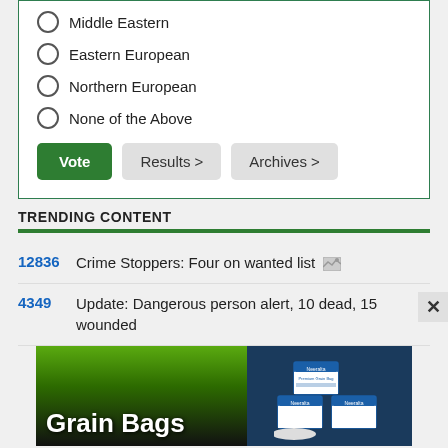Middle Eastern
Eastern European
Northern European
None of the Above
TRENDING CONTENT
12836   Crime Stoppers: Four on wanted list
4349   Update: Dangerous person alert, 10 dead, 15 wounded
[Figure (photo): Advertisement for Grain Bags product by Neeralta, showing a large white grain bag and product boxes on a green/black background]